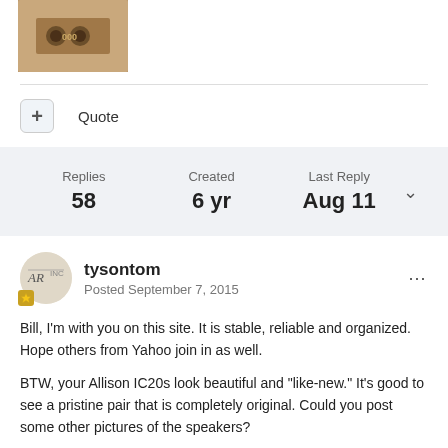[Figure (photo): Partial photo of a wooden speaker or audio device with a logo on it, cropped at top of page]
+ Quote
Replies 58  Created 6 yr  Last Reply Aug 11
tysontom
Posted September 7, 2015
Bill, I'm with you on this site. It is stable, reliable and organized. Hope others from Yahoo join in as well.

BTW, your Allison IC20s look beautiful and "like-new." It's good to see a pristine pair that is completely original. Could you post some other pictures of the speakers?